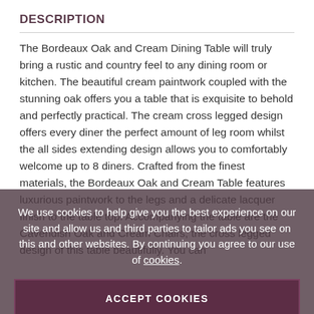DESCRIPTION
The Bordeaux Oak and Cream Dining Table will truly bring a rustic and country feel to any dining room or kitchen. The beautiful cream paintwork coupled with the stunning oak offers you a table that is exquisite to behold and perfectly practical. The cream cross legged design offers every diner the perfect amount of leg room whilst the all sides extending design allows you to comfortably welcome up to 8 diners. Crafted from the finest materials, the Bordeaux Oak and Cream Table features luxurious paintwork to the legs and a delicate lacquer finish to the table top. Accompanying the table are the Cavendish Oak and Cream Chairs, which have been especially designed to complement the cross legged design of this table beautifully. You can
We use cookies to help give you the best experience on our site and allow us and third parties to tailor ads you see on this and other websites. By continuing you agree to our use of cookies.
ACCEPT COOKIES
CUSTOM SETTINGS